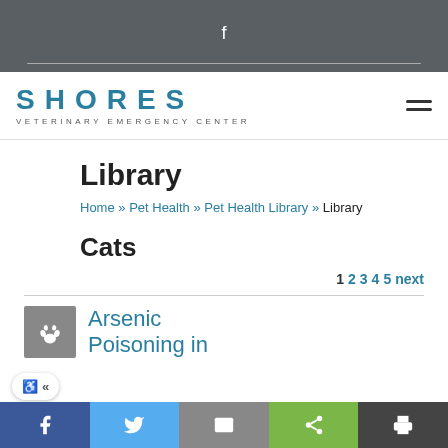f
[Figure (logo): Shores Veterinary Emergency Center logo with hamburger menu icon]
Library
Home » Pet Health » Pet Health Library » Library
Cats
1 2 3 4 5 next
Arsenic Poisoning in